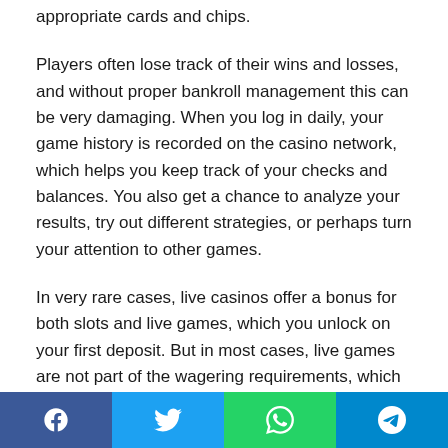appropriate cards and chips.
Players often lose track of their wins and losses, and without proper bankroll management this can be very damaging. When you log in daily, your game history is recorded on the casino network, which helps you keep track of your checks and balances. You also get a chance to analyze your results, try out different strategies, or perhaps turn your attention to other games.
In very rare cases, live casinos offer a bonus for both slots and live games, which you unlock on your first deposit. But in most cases, live games are not part of the wagering requirements, which means you can't use them at all at live casinos. So when choosing your next online casino with live dealer games, check to see if the casino offers bonuses specific to live dealer
Facebook | Twitter | WhatsApp | Telegram